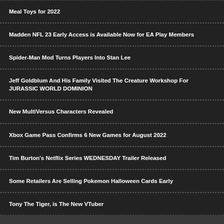Meal Toys for 2022
Madden NFL 23 Early Access is Available Now for EA Play Members
Spider-Man Mod Turns Players Into Stan Lee
Jeff Goldblum And His Family Visited The Creature Workshop For JURASSIC WORLD DOMINION
New MultiVersus Characters Revealed
Xbox Game Pass Confirms 6 New Games for August 2022
Tim Burton's Netflix Series WEDNESDAY Trailer Released
Some Retailers Are Selling Pokemon Halloween Cards Early
Tony The Tiger, is The New VTuber
Copyright © 2012-2022 FizX Entertainment | Advertise | Contact Us | Copyright Notices | Home | Privacy Policy | Write For Us